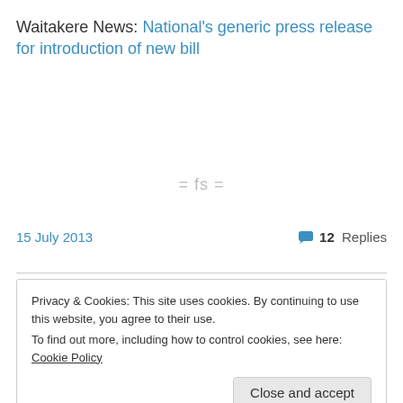Waitakere News: National's generic press release for introduction of new bill
= fs =
15 July 2013
12 Replies
Privacy & Cookies: This site uses cookies. By continuing to use this website, you agree to their use.
To find out more, including how to control cookies, see here: Cookie Policy
Close and accept